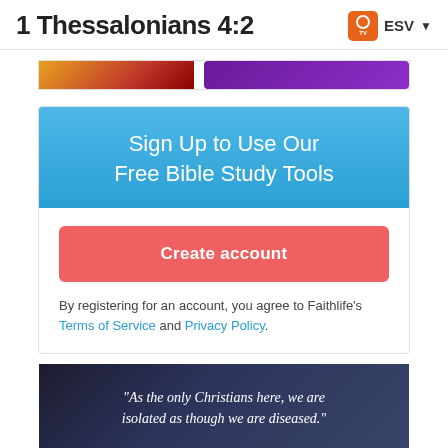1 Thessalonians 4:2 ESV
[Figure (screenshot): Partial image strip showing colorful banner elements]
Sign Up to Use Our Free Bible Study Tools
Create account
By registering for an account, you agree to Faithlife's Terms of Service and Privacy Policy.
[Figure (photo): Dark photo with quote: "As the only Christians here, we are isolated as though we are diseased."]